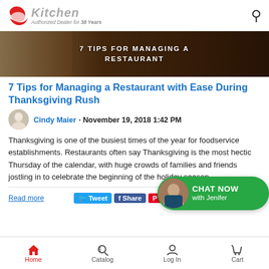CKitchen - Authorized Dealer for 38 Years
[Figure (photo): Banner image with dark wood background and white text reading '7 TIPS FOR MANAGING A RESTAURANT']
7 Tips for Managing a Restaurant with Ease During Thanksgiving Rush
Cindy Maier · November 19, 2018 1:42 PM
Thanksgiving is one of the busiest times of the year for foodservice establishments. Restaurants often say Thanksgiving is the most hectic Thursday of the calendar, with huge crowds of families and friends jostling in to celebrate the beginning of the holiday season.
Home   Catalog   Log In   Cart